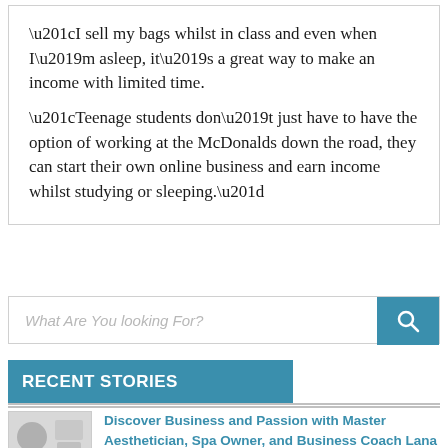“I sell my bags whilst in class and even when I’m asleep, it’s a great way to make an income with limited time. “Teenage students don’t just have to have the option of working at the McDonalds down the road, they can start their own online business and earn income whilst studying or sleeping.”
[Figure (screenshot): Search bar with placeholder text 'What Are You looking For?' and a teal search button with magnifying glass icon]
RECENT STORIES
[Figure (photo): Thumbnail image of a person, likely in a spa or business setting]
Discover Business and Passion with Master Aesthetician, Spa Owner, and Business Coach Lana Ivanov